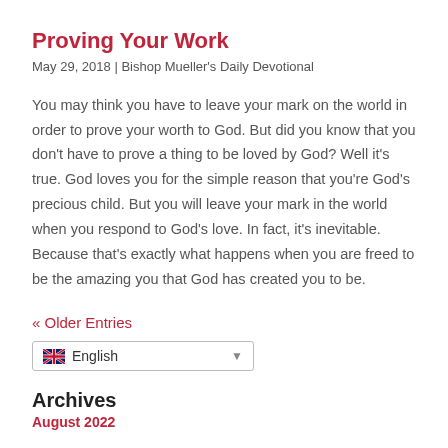Proving Your Work
May 29, 2018 | Bishop Mueller's Daily Devotional
You may think you have to leave your mark on the world in order to prove your worth to God. But did you know that you don't have to prove a thing to be loved by God? Well it's true. God loves you for the simple reason that you're God's precious child. But you will leave your mark in the world when you respond to God's love. In fact, it's inevitable. Because that's exactly what happens when you are freed to be the amazing you that God has created you to be.
« Older Entries
[Figure (screenshot): Language selector dropdown showing UK flag and 'English' text with a dropdown arrow]
Archives
August 2022